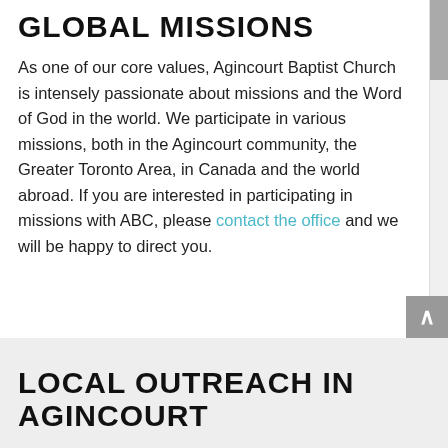GLOBAL MISSIONS
As one of our core values, Agincourt Baptist Church is intensely passionate about missions and the Word of God in the world. We participate in various missions, both in the Agincourt community, the Greater Toronto Area, in Canada and the world abroad. If you are interested in participating in missions with ABC, please contact the office and we will be happy to direct you.
LOCAL OUTREACH IN AGINCOURT